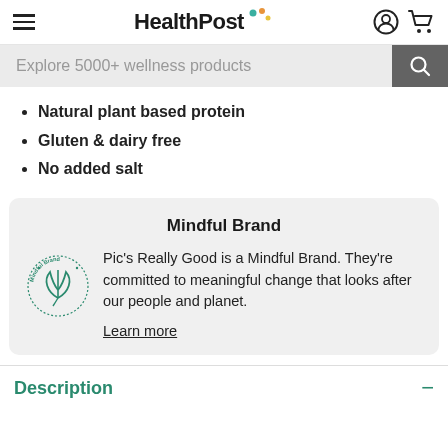HealthPost
Explore 5000+ wellness products
Natural plant based protein
Gluten & dairy free
No added salt
Mindful Brand
[Figure (logo): Mindful Brand circular logo with leaf/flower illustration and text 'Mindful Brand' around the circle]
Pic's Really Good is a Mindful Brand. They're committed to meaningful change that looks after our people and planet.
Learn more
Description